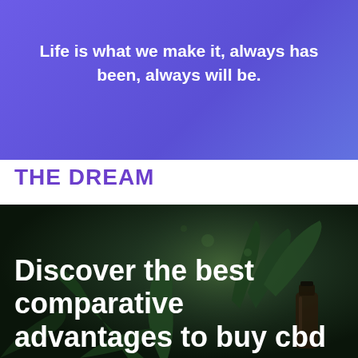Life is what we make it, always has been, always will be.
THE DREAM
[Figure (photo): Dark moody background photo of green cannabis/hemp plant leaves with a small dark amber dropper bottle, used as a background for overlaid white bold text about CBD products.]
Discover the best comparative advantages to buy cbd